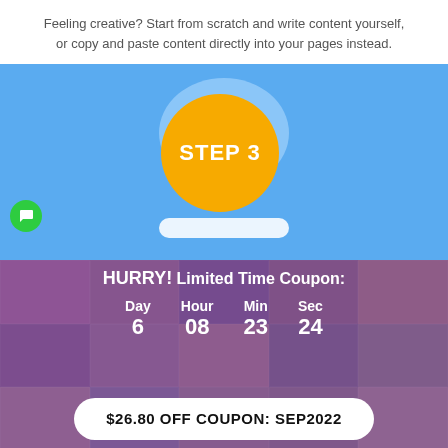Feeling creative? Start from scratch and write content yourself, or copy and paste content directly into your pages instead.
[Figure (illustration): Blue background with a light blue oval and an orange circle in the center. The orange circle contains the text STEP 3 in white bold letters. A small green chat bubble icon is visible at the lower left.]
[Figure (infographic): Purple background with a grid of face photos (people). Overlay shows HURRY! Limited Time Coupon: with a countdown showing Day 6, Hour 08, Min 23, Sec 24. A white rounded button shows $26.80 OFF COUPON: SEP2022.]